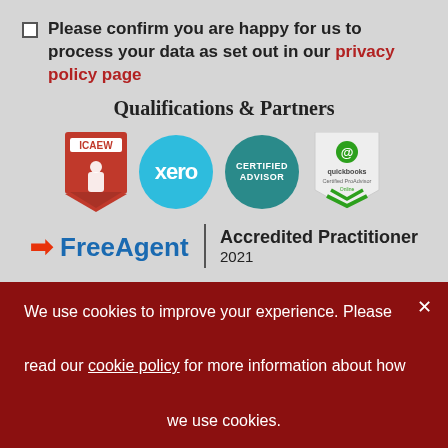Please confirm you are happy for us to process your data as set out in our privacy policy page
Qualifications & Partners
[Figure (logo): Row of partner/qualification logos: ICAEW (red shield), Xero (teal circle), Xero Certified Advisor (dark teal circle), QuickBooks Certified ProAdvisor Online (white badge with green chevron)]
[Figure (logo): FreeAgent Accredited Practitioner 2021 logo with divider]
We use cookies to improve your experience. Please read our cookie policy for more information about how we use cookies.